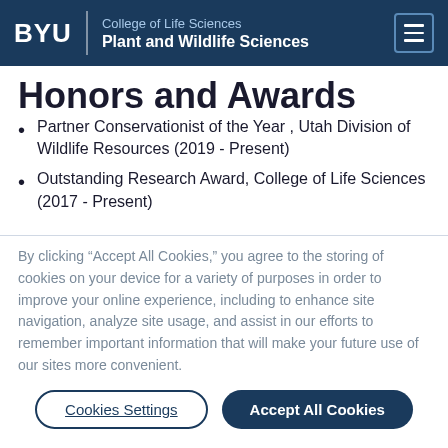BYU | College of Life Sciences | Plant and Wildlife Sciences
Honors and Awards
Partner Conservationist of the Year , Utah Division of Wildlife Resources (2019 - Present)
Outstanding Research Award, College of Life Sciences (2017 - Present)
By clicking “Accept All Cookies,” you agree to the storing of cookies on your device for a variety of purposes in order to improve your online experience, including to enhance site navigation, analyze site usage, and assist in our efforts to remember important information that will make your future use of our sites more convenient.
Cookies Settings | Accept All Cookies